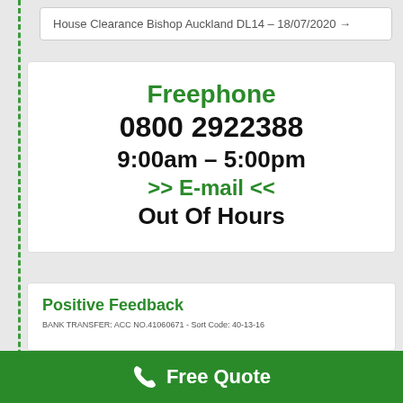House Clearance Bishop Auckland DL14 – 18/07/2020 →
Freephone
0800 2922388
9:00am – 5:00pm
>> E-mail <<
Out Of Hours
Positive Feedback
BANK TRANSFER: ACC NO.41060671 - Sort Code: 40-13-16
Free Quote